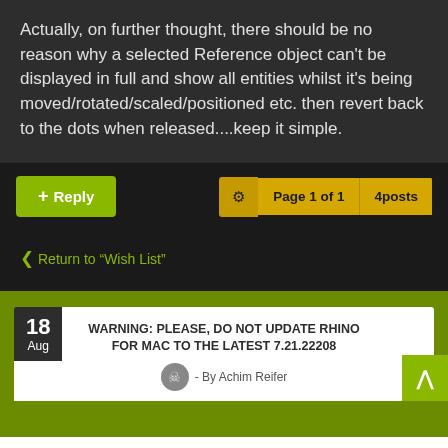Actually, on further thought, there should be no reason why a selected Reference object can't be displayed in full and show all entities whilst it's being moved/rotated/scaled/positioned etc. then revert back to the dots when released....keep it simple.
+ Reply
Page 1 of 1   4posts
Return to “Wish List”
WARNING: PLEASE, DO NOT UPDATE RHINO FOR MAC TO THE LATEST 7.21.22208
18 Aug
- By Achim Reifer